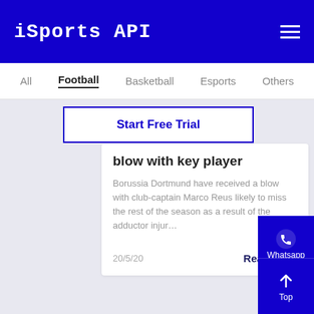iSports API
All  Football  Basketball  Esports  Others
Start Free Trial
blow with key player
Borussia Dortmund have received a blow with club-captain Marco Reus likely to miss the rest of the season as a result of the adductor injur…
20/5/20    Read More
[Figure (screenshot): Whatsapp contact button (blue square with phone icon)]
[Figure (screenshot): Contact button (blue square with chat icon)]
[Figure (screenshot): Top button (blue square with up arrow icon)]